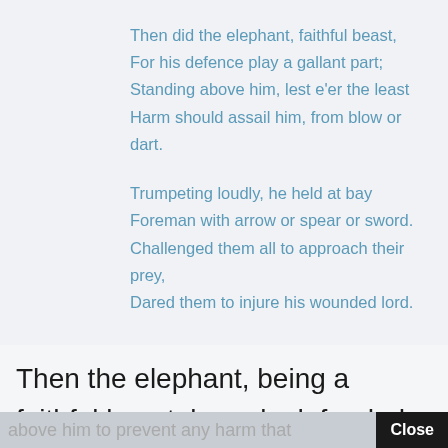Then did the elephant, faithful beast,
For his defence play a gallant part;
Standing above him, lest e'er the least
Harm should assail him, from blow or dart.

Trumpeting loudly, he held at bay
Foreman with arrow or spear or sword.
Challenged them all to approach their prey,
Dared them to injure his wounded lord.
Then the elephant, being a faithful beast, bravely defended the fallen king. He protected Porus by standing
above him to prevent any harm that   Close